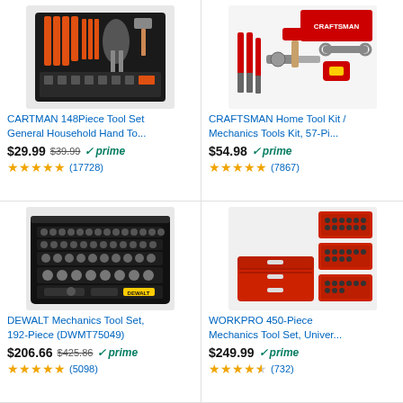[Figure (photo): CARTMAN 148-Piece Tool Set in a black case with orange-handled tools]
CARTMAN 148Piece Tool Set General Household Hand To...
$29.99  $39.99  prime  ★★★★★ (17728)
[Figure (photo): CRAFTSMAN Home Tool Kit with red and black tools]
CRAFTSMAN Home Tool Kit / Mechanics Tools Kit, 57-Pi...
$54.98  prime  ★★★★★ (7867)
[Figure (photo): DEWALT Mechanics Tool Set 192-Piece in black carrying case]
DEWALT Mechanics Tool Set, 192-Piece (DWMT75049)
$206.66  $425.86  prime  ★★★★★ (5098)
[Figure (photo): WORKPRO 450-Piece Mechanics Tool Set with red toolbox]
WORKPRO 450-Piece Mechanics Tool Set, Univer...
$249.99  prime  ★★★★½ (732)